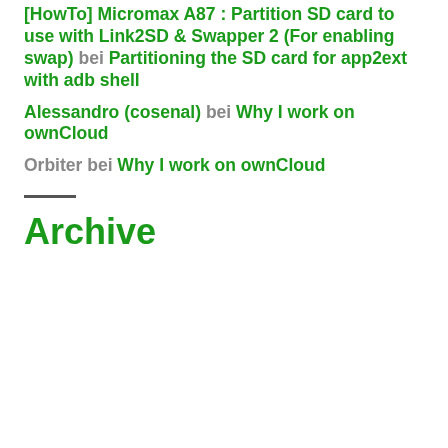[HowTo] Micromax A87 : Partition SD card to use with Link2SD & Swapper 2 (For enabling swap) bei Partitioning the SD card for app2ext with adb shell
Alessandro (cosenal) bei Why I work on ownCloud
Orbiter bei Why I work on ownCloud
Archive